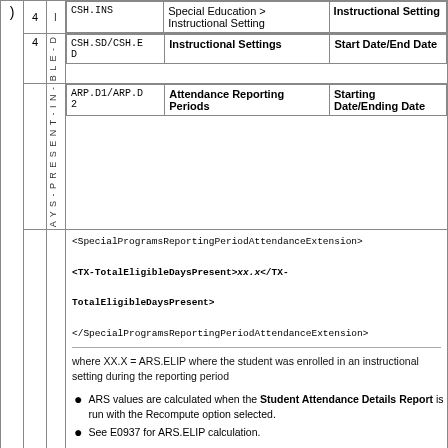|  |  |  | Field/XML Path/Code | Description | Start/End |
| --- | --- | --- | --- | --- | --- |
| ) | 4 | I | CSH.INS | Special Education > Instructional Setting | Instructional Setting |
|  | 4 | B
L
E
-
D | CSH.SD/CSH.ED | Instructional Settings | Start Date/End Date |
|  |  | A
Y
S
-
P
R
E
S
E
N
T
-
I
N
- | ARP.D1/ARP.D2 | Attendance Reporting Periods | Starting Date/Ending Date |
|  |  |  | <SpecialProgramsReportingPeriodAttendanceExtension>
<TX-TotalEligibleDaysPresent>xx.x</TX-TotalEligibleDaysPresent>
</SpecialProgramsReportingPeriodAttendanceExtension>

where XX.X = ARS.ELIP where the student was enrolled in an instructional setting during the reporting period
• ARS values are calculated when the Student Attendance Details Report is run with the Recompute option selected.
• See E0937 for ARS.ELIP calculation. |  |  |